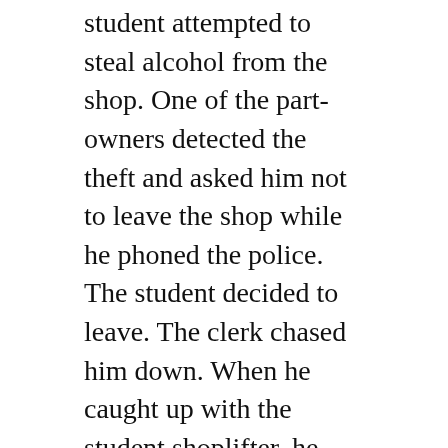student attempted to steal alcohol from the shop. One of the part-owners detected the theft and asked him not to leave the shop while he phoned the police. The student decided to leave. The clerk chased him down. When he caught up with the student shoplifter, he was assaulted by the student and his two female friends. This assault, according to the Quadrant, included kicking and hitting.
The following day hundreds of Oberlin students gathered at the Gibson bakery shop for a protest. They claimed the shop was “racist”. Their protest was supported by a number of college officials.
From the Quadrant: